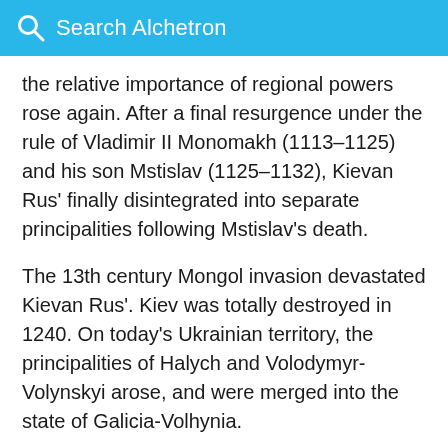Search Alchetron
the relative importance of regional powers rose again. After a final resurgence under the rule of Vladimir II Monomakh (1113–1125) and his son Mstislav (1125–1132), Kievan Rus' finally disintegrated into separate principalities following Mstislav's death.
The 13th century Mongol invasion devastated Kievan Rus'. Kiev was totally destroyed in 1240. On today's Ukrainian territory, the principalities of Halych and Volodymyr-Volynskyi arose, and were merged into the state of Galicia-Volhynia.
Danylo Romanovych (Daniel I of Galicia Halytskyi) son of Roman Mstyslavych, re-united all